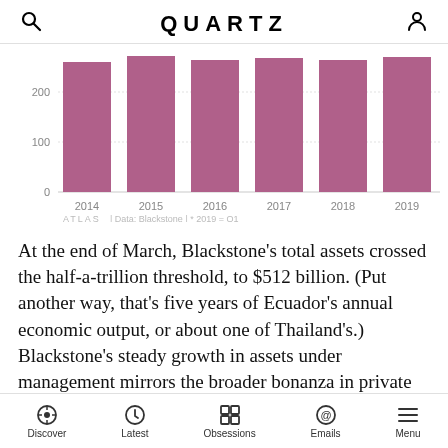QUARTZ
[Figure (bar-chart): Bar chart showing Blackstone assets under management from 2014 to 2019. All bars are approximately 270-290 range. Data: Blackstone | * 2019 = Q1]
At the end of March, Blackstone’s total assets crossed the half-a-trillion threshold, to $512 billion. (Put another way, that’s five years of Ecuador’s annual economic output, or about one of Thailand’s.) Blackstone’s steady growth in assets under management mirrors the broader bonanza in private capital fundraising, with 2019 currently on course to break post-recession records. Blackstone is in the midst of raising what is set to be the
Discover | Latest | Obsessions | Emails | Menu